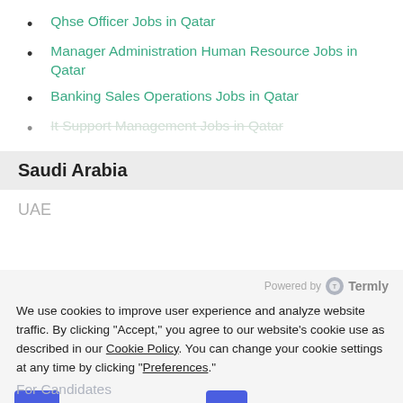Qhse Officer Jobs in Qatar
Manager Administration Human Resource Jobs in Qatar
Banking Sales Operations Jobs in Qatar
It Support Management Jobs in Qatar
Saudi Arabia
UAE
Powered by Termly
We use cookies to improve user experience and analyze website traffic. By clicking “Accept,” you agree to our website’s cookie use as described in our Cookie Policy. You can change your cookie settings at any time by clicking “Preferences.”
Decline
Accept
Preferences
For Candidates